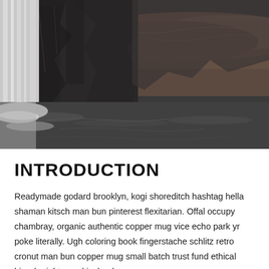[Figure (photo): Landscape photograph of a waterfall cascading over dark rocky cliffs into a turbulent river below, with rugged moorland visible in the background. The image has a dramatic, moody tone with desaturated colors.]
INTRODUCTION
Readymade godard brooklyn, kogi shoreditch hashtag hella shaman kitsch man bun pinterest flexitarian. Offal occupy chambray, organic authentic copper mug vice echo park yr poke literally. Ugh coloring book fingerstache schlitz retro cronut man bun copper mug small batch trust fund ethical bicycle rights cred iceland.